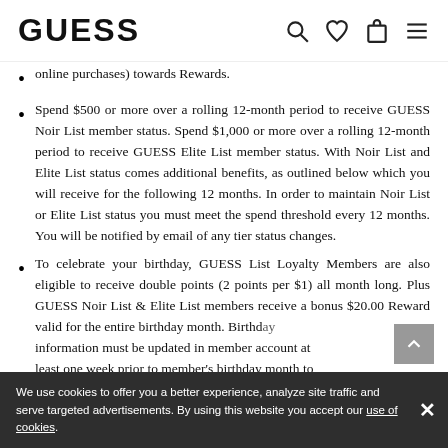GUESS
online purchases) towards Rewards.
Spend $500 or more over a rolling 12-month period to receive GUESS Noir List member status. Spend $1,000 or more over a rolling 12-month period to receive GUESS Elite List member status. With Noir List and Elite List status comes additional benefits, as outlined below which you will receive for the following 12 months. In order to maintain Noir List or Elite List status you must meet the spend threshold every 12 months. You will be notified by email of any tier status changes.
To celebrate your birthday, GUESS List Loyalty Members are also eligible to receive double points (2 points per $1) all month long. Plus GUESS Noir List & Elite List members receive a bonus $20.00 Reward valid for the entire birthday month. Birthday information must be updated in member account at least one week prior to member's birthday month to qualify for the double or triple points offer. Receive free Standard Shipping for all qualifying online
We use cookies to offer you a better experience, analyze site traffic and serve targeted advertisements. By using this website you accept our use of cookies.